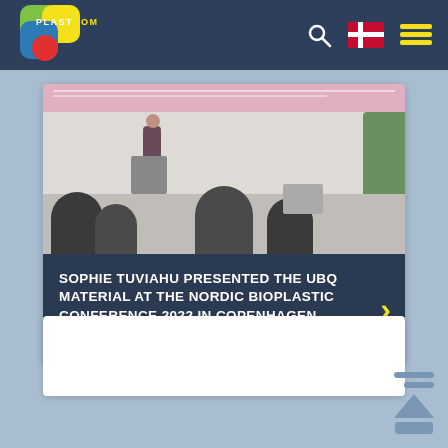PLASTCOM
[Figure (photo): Conference presentation photo: A speaker stands at a podium in front of a projection screen with a pink banner. Audience members are visible in the foreground silhouetted from behind.]
SOPHIE TUVIAHU PRESENTED THE UBQ MATERIAL AT THE NORDIC BIOPLASTIC CONFERENCE 2022 IN COPENHAGEN, DENMARK